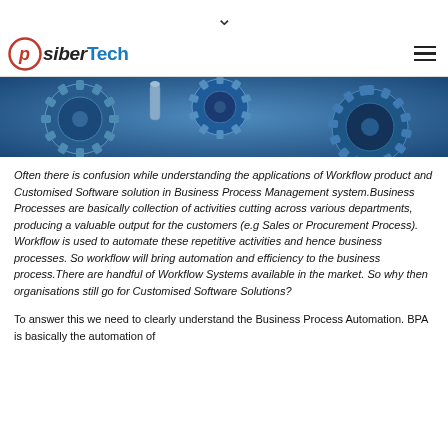PsiberTech
[Figure (photo): Wide banner photograph of blue metallic interlocking gears/cogs machinery background]
Often there is confusion while understanding the applications of Workflow product and Customised Software solution in Business Process Management system.Business Processes are basically collection of activities cutting across various departments, producing a valuable output for the customers (e.g Sales or Procurement Process). Workflow is used to automate these repetitive activities and hence business processes. So workflow will bring automation and efficiency to the business process.There are handful of Workflow Systems available in the market. So why then organisations still go for Customised Software Solutions?
To answer this we need to clearly understand the Business Process Automation. BPA is basically the automation of